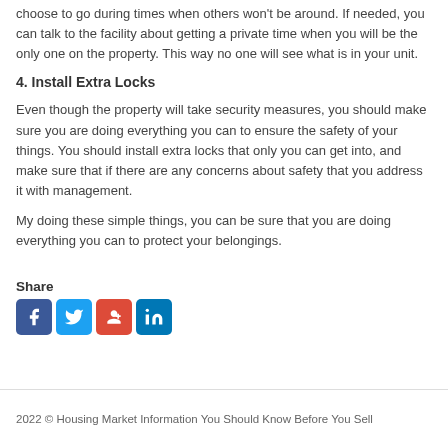choose to go during times when others won't be around. If needed, you can talk to the facility about getting a private time when you will be the only one on the property. This way no one will see what is in your unit.
4. Install Extra Locks
Even though the property will take security measures, you should make sure you are doing everything you can to ensure the safety of your things. You should install extra locks that only you can get into, and make sure that if there are any concerns about safety that you address it with management.
My doing these simple things, you can be sure that you are doing everything you can to protect your belongings.
Share
[Figure (other): Social media share icons: Facebook, Twitter, Google+, LinkedIn]
2022 © Housing Market Information You Should Know Before You Sell